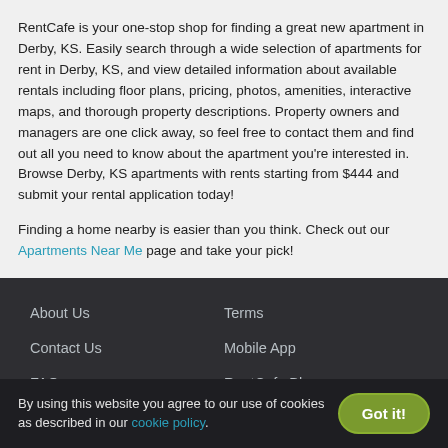RentCafe is your one-stop shop for finding a great new apartment in Derby, KS. Easily search through a wide selection of apartments for rent in Derby, KS, and view detailed information about available rentals including floor plans, pricing, photos, amenities, interactive maps, and thorough property descriptions. Property owners and managers are one click away, so feel free to contact them and find out all you need to know about the apartment you're interested in. Browse Derby, KS apartments with rents starting from $444 and submit your rental application today!
Finding a home nearby is easier than you think. Check out our Apartments Near Me page and take your pick!
About Us
Contact Us
FAQ
How it Works
Terms
Mobile App
RentCafe Blog
RentCafe Sitemap
By using this website you agree to our use of cookies as described in our cookie policy.